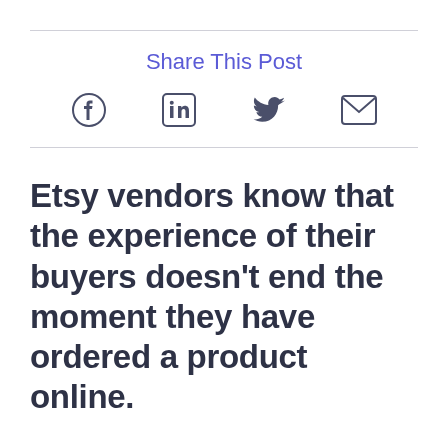Share This Post
[Figure (infographic): Social sharing icons: Facebook, LinkedIn, Twitter, Email]
Etsy vendors know that the experience of their buyers doesn't end the moment they have ordered a product online.